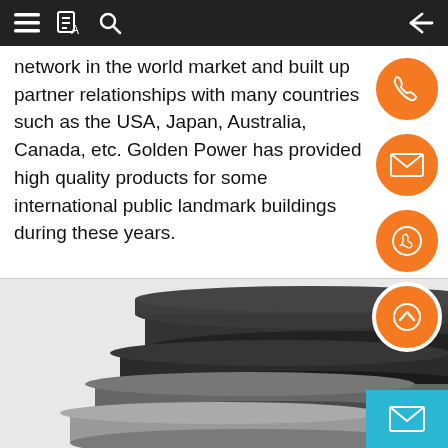Mobile app navigation bar with menu, translate, search and back icons
network in the world market and built up partner relationships with many countries such as the USA, Japan, Australia, Canada, etc. Golden Power has provided high quality products for some international public landmark buildings during these years.
[Figure (photo): Stack of dark grey and light grey flat rectangular fiber cement or composite boards/panels, arranged in a staggered stack on a white background]
[Figure (other): Orange circular icon buttons on the right sidebar: phone, email, WhatsApp, and scroll-to-top icons]